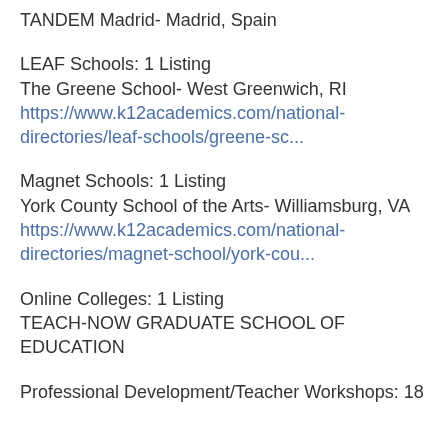TANDEM Madrid- Madrid, Spain
LEAF Schools: 1 Listing
The Greene School- West Greenwich, RI
https://www.k12academics.com/national-directories/leaf-schools/greene-sc...
Magnet Schools: 1 Listing
York County School of the Arts- Williamsburg, VA
https://www.k12academics.com/national-directories/magnet-school/york-cou...
Online Colleges: 1 Listing
TEACH-NOW GRADUATE SCHOOL OF EDUCATION
Professional Development/Teacher Workshops: 18